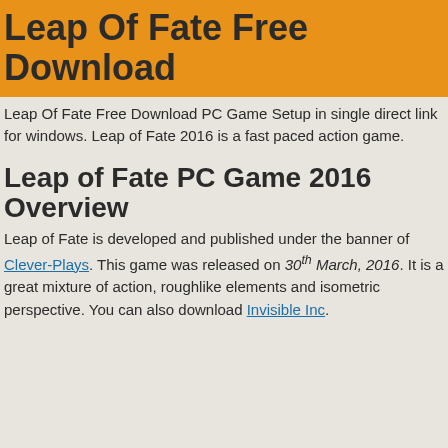Leap Of Fate Free Download
Leap Of Fate Free Download PC Game Setup in single direct link for windows. Leap of Fate 2016 is a fast paced action game.
Leap of Fate PC Game 2016 Overview
Leap of Fate is developed and published under the banner of Clever-Plays. This game was released on 30th March, 2016. It is a great mixture of action, roughlike elements and isometric perspective. You can also download Invisible Inc.